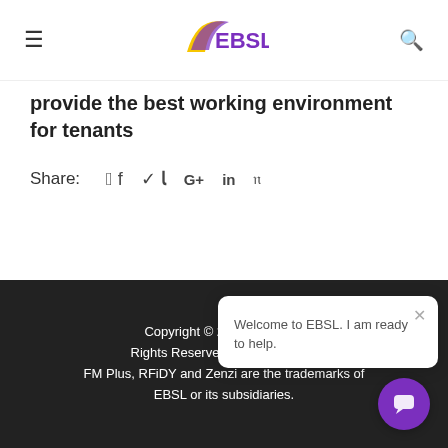EBSL
provide the best working environment for tenants
Share:
Copyright © 2022 EBSL. All Rights Reserved. Privacy Policy. FM Plus, RFiDY and Zenzi are the trademarks of EBSL or its subsidiaries.